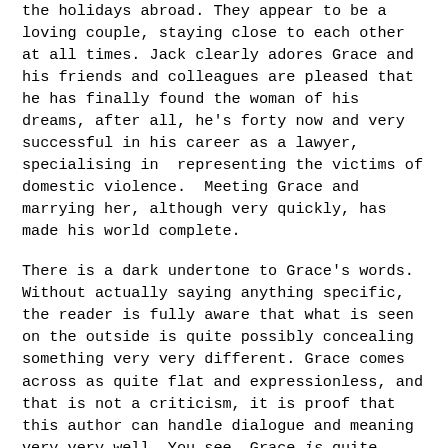the holidays abroad. They appear to be a loving couple, staying close to each other at all times. Jack clearly adores Grace and his friends and colleagues are pleased that he has finally found the woman of his dreams, after all, he's forty now and very successful in his career as a lawyer, specialising in  representing the victims of domestic violence.  Meeting Grace and marrying her, although very quickly, has made his world complete.
There is a dark undertone to Grace's words. Without actually saying anything specific, the reader is fully aware that what is seen on the outside is quite possibly concealing something very very different. Grace comes across as quite flat and expressionless, and that is not a criticism, it is proof that this author can handle dialogue and meaning very very well. You see, Grace is quite flat, her emotion and expression have been silenced so many times that she has to choose every word and every action so very carefully. Why?